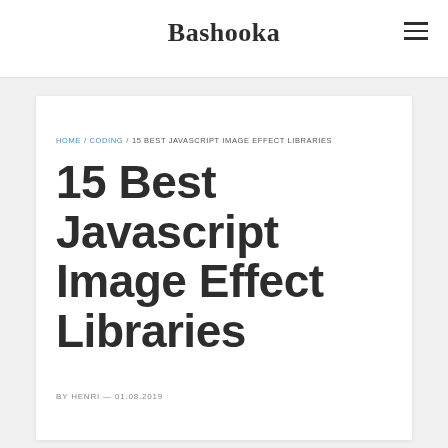Bashooka
HOME / CODING / 15 BEST JAVASCRIPT IMAGE EFFECT LIBRARIES
15 Best Javascript Image Effect Libraries
BY HENRI — 01.08.2019